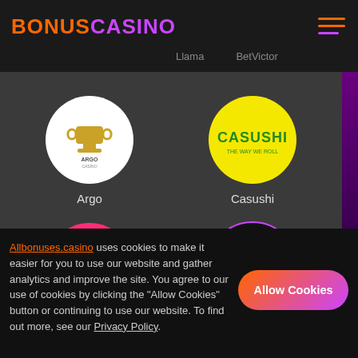BONUSCASINO
Llama   BetVictor
[Figure (logo): Argo Casino circular logo on white background]
Argo
[Figure (logo): Casushi casino circular logo on yellow background]
Casushi
[Figure (logo): Dabber Bingo circular logo on pink background]
Dabber Bingo
[Figure (logo): Crypto Slots circular logo with dollar coin on dark background]
Crypto Slots
Allbonuses.casino uses cookies to make it easier for you to use our website and gather analytics and improve the site. You agree to our use of cookies by clicking the "Allow Cookies" button or continuing to use our website. To find out more, see our Privacy Policy.